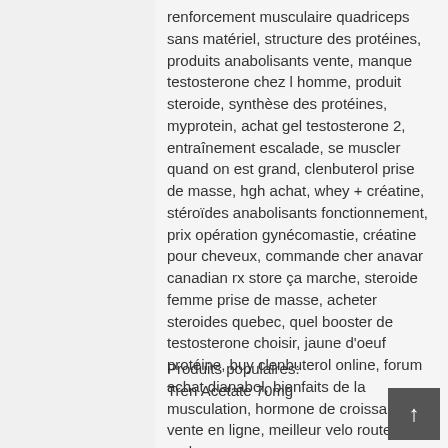renforcement musculaire quadriceps sans matériel, structure des protéines, produits anabolisants vente, manque testosterone chez l homme, produit steroide, synthèse des protéines, myprotein, achat gel testosterone 2, entraînement escalade, se muscler quand on est grand, clenbuterol prise de masse, hgh achat, whey + créatine, stéroïdes anabolisants fonctionnement, prix opération gynécomastie, créatine pour cheveux, commande cher anavar canadian rx store ça marche, steroide femme prise de masse, acheter steroides quebec, quel booster de testosterone choisir, jaune d'oeuf protéine, buy clenbuterol online, forum achat dianabol, bienfaits de la musculation, hormone de croissance vente en ligne, meilleur velo route endurance.
Produits populaires:
Tren Acetate 70mg